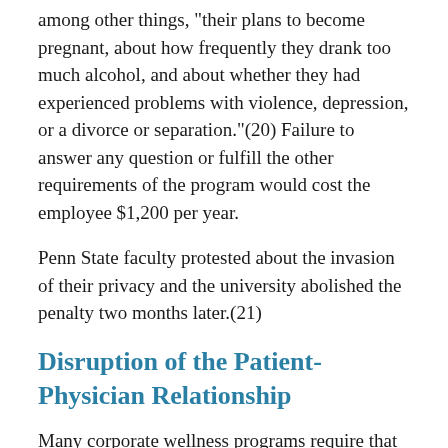among other things, "their plans to become pregnant, about how frequently they drank too much alcohol, and about whether they had experienced problems with violence, depression, or a divorce or separation."(20) Failure to answer any question or fulfill the other requirements of the program would cost the employee $1,200 per year.
Penn State faculty protested about the invasion of their privacy and the university abolished the penalty two months later.(21)
Disruption of the Patient-Physician Relationship
Many corporate wellness programs require that employees create compliance plans with their